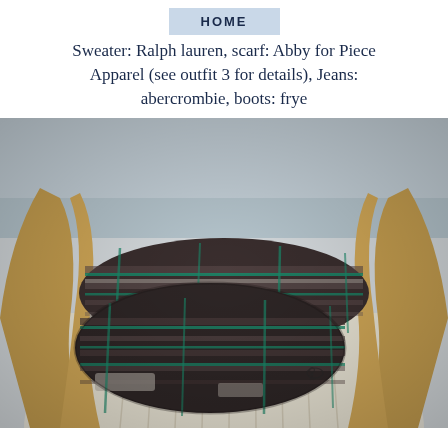HOME
Sweater: Ralph lauren, scarf: Abby for Piece Apparel (see outfit 3 for details), Jeans: abercrombie, boots: frye
[Figure (photo): Close-up photo of a person wearing a cream cable-knit Ralph Lauren sweater with a dark plaid infinity scarf (brown, black, white, and teal/green stripes) wrapped around their neck. The person has long blonde hair. The background appears to be outdoors in winter.]